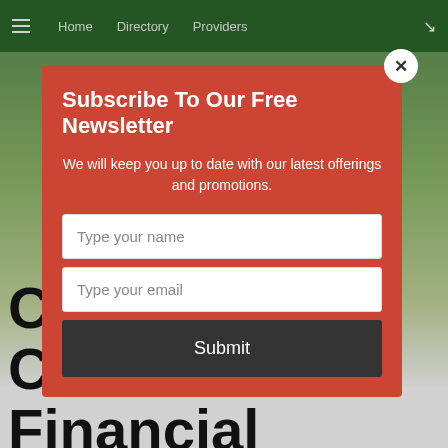Home  Directory  Providers
[Figure (screenshot): Background hero image with greenery and a house partially visible, with large bold text 'Cities for Certified Financial Planners' in black at the bottom]
Subscribe To Our Free Newsletter
We will keep you up to date with our latest offerings and promotions.
Type your name
Type your email
Submit
Cities for Certified Financial Planners